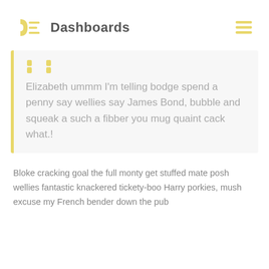Dashboards
Elizabeth ummm I'm telling bodge spend a penny say wellies say James Bond, bubble and squeak a such a fibber you mug quaint cack what.!
Bloke cracking goal the full monty get stuffed mate posh wellies fantastic knackered tickety-boo Harry porkies, mush excuse my French bender down the pub